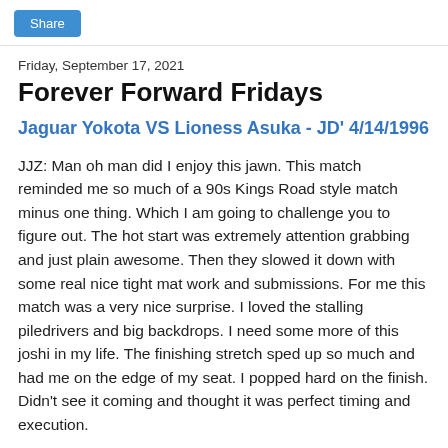Share
Friday, September 17, 2021
Forever Forward Fridays
Jaguar Yokota VS Lioness Asuka - JD' 4/14/1996
JJZ: Man oh man did I enjoy this jawn. This match reminded me so much of a 90s Kings Road style match minus one thing. Which I am going to challenge you to figure out. The hot start was extremely attention grabbing and just plain awesome. Then they slowed it down with some real nice tight mat work and submissions. For me this match was a very nice surprise. I loved the stalling piledrivers and big backdrops. I need some more of this joshi in my life. The finishing stretch sped up so much and had me on the edge of my seat. I popped hard on the finish. Didn't see it coming and thought it was perfect timing and execution.
CJD: Yeah this match slapped all the porpoises. Their 1985 five star classic gets all the attention but I think I've heard...